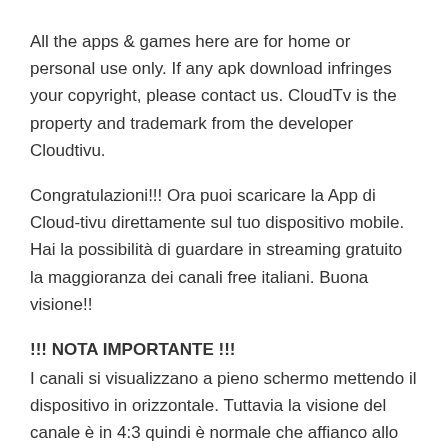All the apps & games here are for home or personal use only. If any apk download infringes your copyright, please contact us. CloudTv is the property and trademark from the developer Cloudtivu.
Congratulazioni!!! Ora puoi scaricare la App di Cloud-tivu direttamente sul tuo dispositivo mobile. Hai la possibilità di guardare in streaming gratuito la maggioranza dei canali free italiani. Buona visione!!
!!! NOTA IMPORTANTE !!!
I canali si visualizzano a pieno schermo mettendo il dispositivo in orizzontale. Tuttavia la visione del canale è in 4:3 quindi è normale che affianco allo stream ci siano delle bande grige. La visione in 4:3 è dovuto a questioni tecniche